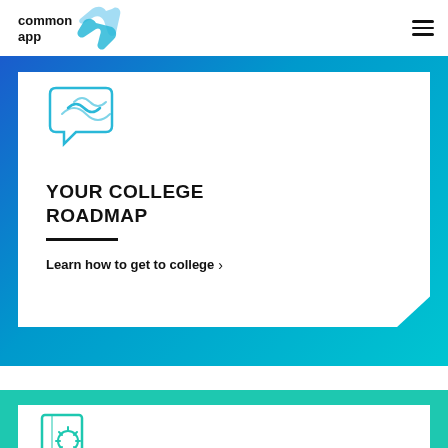common app
[Figure (logo): Common App logo with stylized blue bird/wing icon and text 'common app']
[Figure (illustration): Blue outline icon of speech bubble with sound/radio waves, partially cropped at top]
YOUR COLLEGE ROADMAP
Learn how to get to college >
[Figure (illustration): Teal/green outline icon of a book with sun/star design, partially visible at bottom of page]